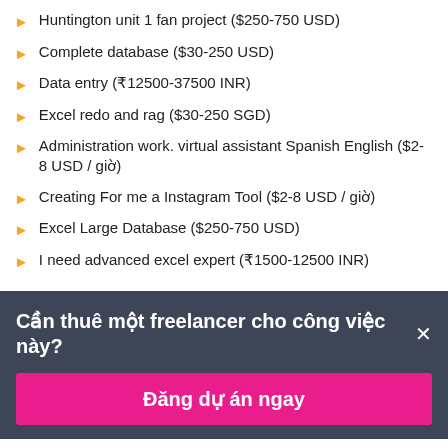Huntington unit 1 fan project ($250-750 USD)
Complete database ($30-250 USD)
Data entry (₹12500-37500 INR)
Excel redo and rag ($30-250 SGD)
Administration work. virtual assistant Spanish English ($2-8 USD / giờ)
Creating For me a Instagram Tool ($2-8 USD / giờ)
Excel Large Database ($250-750 USD)
I need advanced excel expert (₹1500-12500 INR)
Cần thuê một freelancer cho công việc này? ×
Đăng dự án ngay